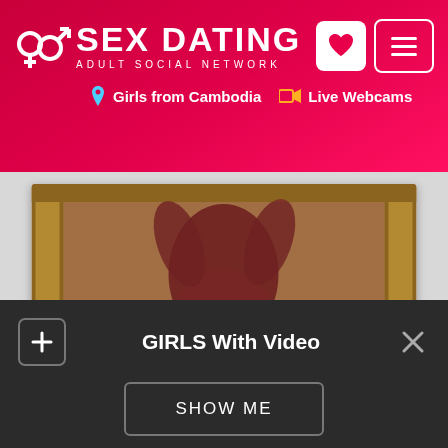SEX DATING – ADULT SOCIAL NETWORK
Girls from Cambodia   Live Webcams
[Figure (photo): Blurred photo of a person standing in front of a mirror with an ornate golden frame]
GIRLS With Video
SHOW ME